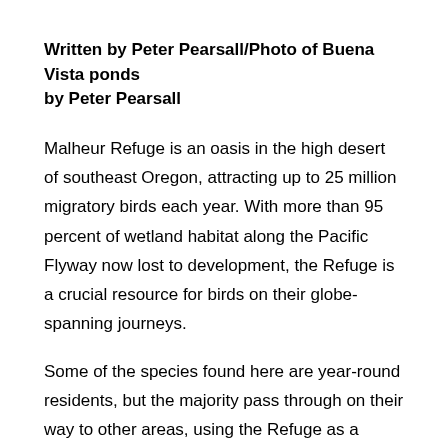Written by Peter Pearsall/Photo of Buena Vista ponds by Peter Pearsall
Malheur Refuge is an oasis in the high desert of southeast Oregon, attracting up to 25 million migratory birds each year. With more than 95 percent of wetland habitat along the Pacific Flyway now lost to development, the Refuge is a crucial resource for birds on their globe-spanning journeys.
Some of the species found here are year-round residents, but the majority pass through on their way to other areas, using the Refuge as a stopover site.
Most of these migrants are expected species. Occasionally, however, birds will show up at Malheur Refuge far outside of